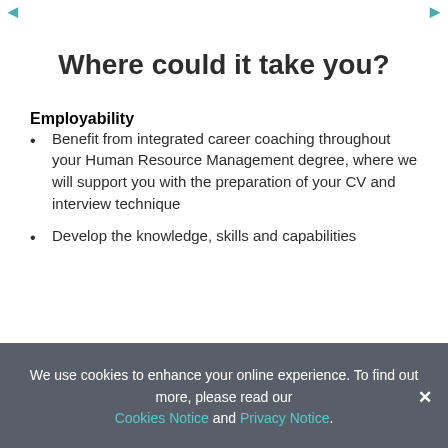◄ ►
Where could it take you?
Employability
Benefit from integrated career coaching throughout your Human Resource Management degree, where we will support you with the preparation of your CV and interview technique
Develop the knowledge, skills and capabilities
We use cookies to enhance your online experience. To find out more, please read our Cookies Notice and Privacy Notice.